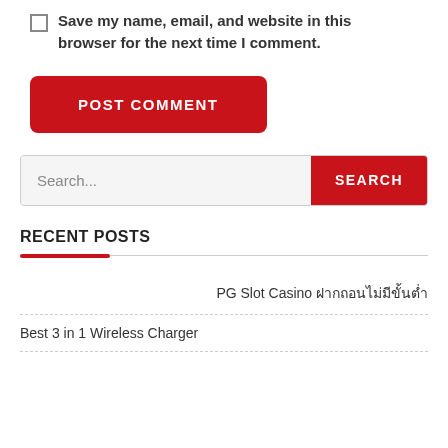Save my name, email, and website in this browser for the next time I comment.
POST COMMENT
Search...
RECENT POSTS
PG Slot Casino ฝากถอนไม่มีขั้นต่ำ
Best 3 in 1 Wireless Charger